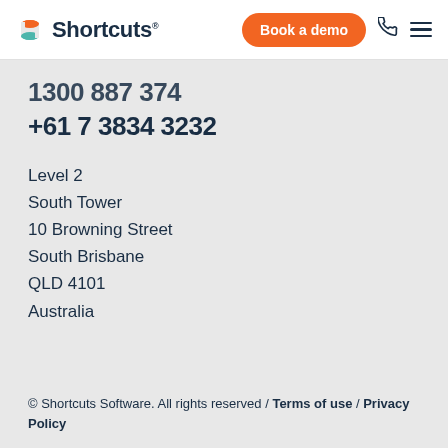Shortcuts | Book a demo
1300 887 374
+61 7 3834 3232
Level 2
South Tower
10 Browning Street
South Brisbane
QLD 4101
Australia
© Shortcuts Software. All rights reserved / Terms of use / Privacy Policy